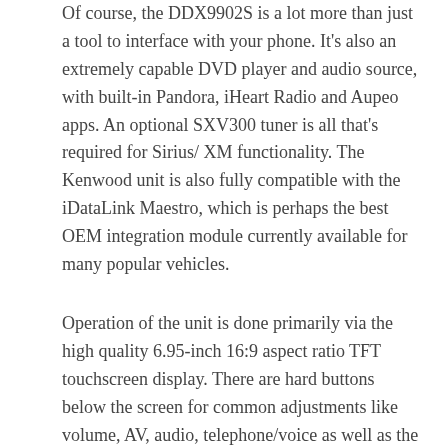Of course, the DDX9902S is a lot more than just a tool to interface with your phone. It's also an extremely capable DVD player and audio source, with built-in Pandora, iHeart Radio and Aupeo apps. An optional SXV300 tuner is all that's required for Sirius/ XM functionality. The Kenwood unit is also fully compatible with the iDataLink Maestro, which is perhaps the best OEM integration module currently available for many popular vehicles.
Operation of the unit is done primarily via the high quality 6.95-inch 16:9 aspect ratio TFT touchscreen display. There are hard buttons below the screen for common adjustments like volume, AV, audio, telephone/voice as well as the eject button. Several of these buttons are dual function; by pressing and holding them, you can access other functions like a rearview